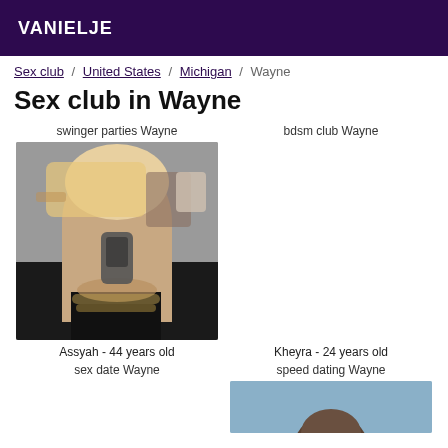VANIELJE
Sex club / United States / Michigan / Wayne
Sex club in Wayne
swinger parties Wayne
[Figure (photo): Photo of Assyah, a blonde woman in a black dress taking a mirror selfie]
Assyah - 44 years old
bdsm club Wayne
Kheyra - 24 years old
sex date Wayne
speed dating Wayne
[Figure (photo): Partial photo of a person with dark hair, cropped at bottom of page]